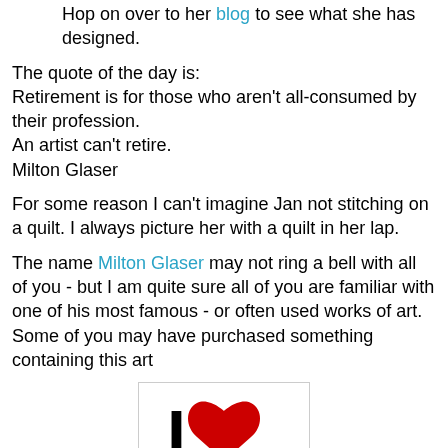Hop on over to her blog to see what she has designed.
The quote of the day is:
Retirement is for those who aren't all-consumed by their profession.
An artist can't retire.
Milton Glaser
For some reason I can't imagine Jan not stitching on a quilt. I always picture her with a quilt in her lap.
The name Milton Glaser may not ring a bell with all of you - but I am quite sure all of you are familiar with one of his most famous - or often used works of art. Some of you may have purchased something containing this art
[Figure (illustration): I Love NY logo: bold black letter I, large red heart shape, and partial bold black letters N and Y at the bottom, on white background with thin border]